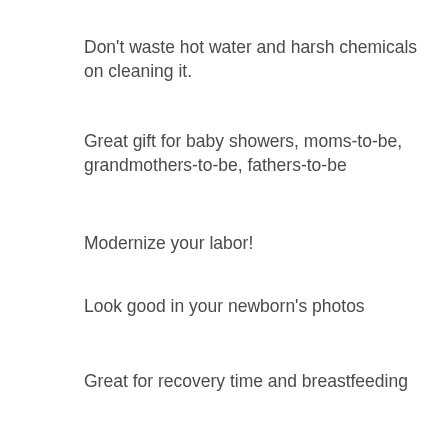Don't waste hot water and harsh chemicals on cleaning it.
Great gift for baby showers, moms-to-be, grandmothers-to-be, fathers-to-be
Modernize your labor!
Look good in your newborn's photos
Great for recovery time and breastfeeding